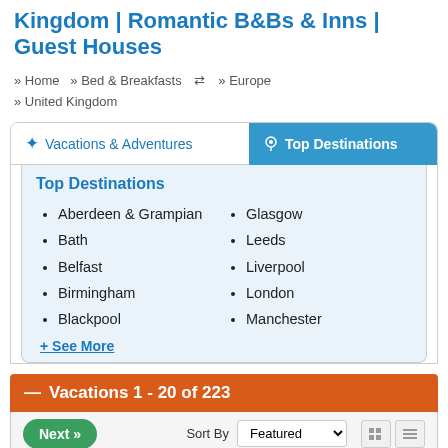Kingdom | Romantic B&Bs & Inns | Guest Houses
» Home  » Bed & Breakfasts  ⇔  » Europe
» United Kingdom
Vacations & Adventures
Top Destinations
Top Destinations
Aberdeen & Grampian
Bath
Belfast
Birmingham
Blackpool
Glasgow
Leeds
Liverpool
London
Manchester
+ See More
Vacations 1 - 20 of 223
Next »  Sort By  Featured
Stour